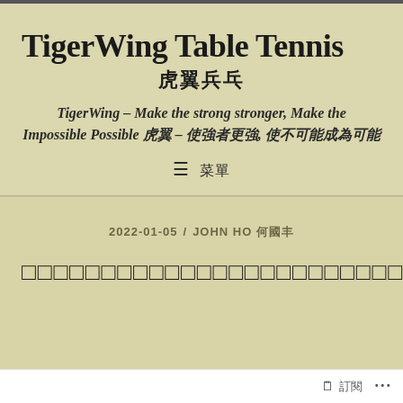TigerWing Table Tennis 虎翼兵乓
TigerWing – Make the strong stronger, Make the Impossible Possible 虎翼 – 使強者更強, 使不可能成為可能
≡ 菜單
2022-01-05 / JOHN HO 何國丰
□□□□□□□□□□□□□□□□□□□□□□□□□
□□ ...